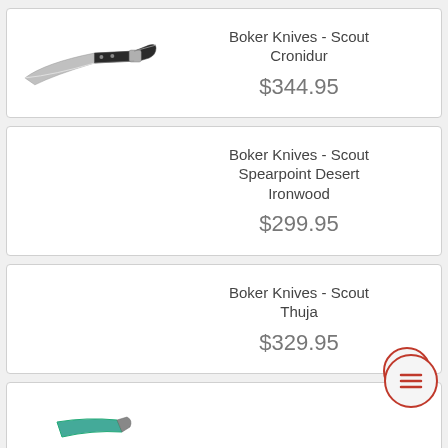[Figure (photo): Product card 1: Boker Knives - Scout Cronidur folding knife photo and price]
Boker Knives - Scout Cronidur
$344.95
[Figure (other): Product card 2: Boker Knives - Scout Spearpoint Desert Ironwood (no image shown)]
Boker Knives - Scout Spearpoint Desert Ironwood
$299.95
[Figure (other): Product card 3: Boker Knives - Scout Thuja (no image shown), with hamburger menu button]
Boker Knives - Scout Thuja
$329.95
[Figure (photo): Product card 4 (partial): Boker Knives item with partial image visible at bottom of page]